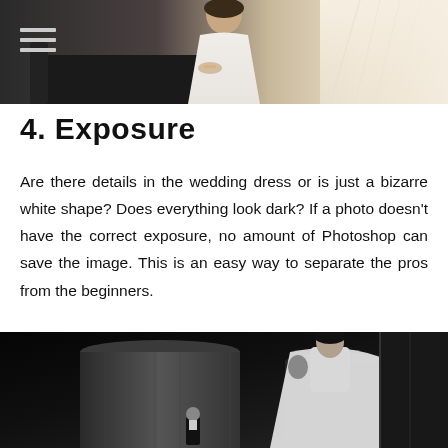[Figure (photo): Wedding photo showing a bride in a white dress sitting on a dark sofa, with a veil visible and bright window light in background. Warm toned photograph.]
4. Exposure
Are there details in the wedding dress or is just a bizarre white shape? Does everything look dark? If a photo doesn't have the correct exposure, no amount of Photoshop can save the image. This is an easy way to separate the pros from the beginners.
[Figure (photo): Black and white wedding photo showing a bride in a white dress being lifted or dancing with a groom in tuxedo, set against dramatic architectural background with large cylindrical columns.]